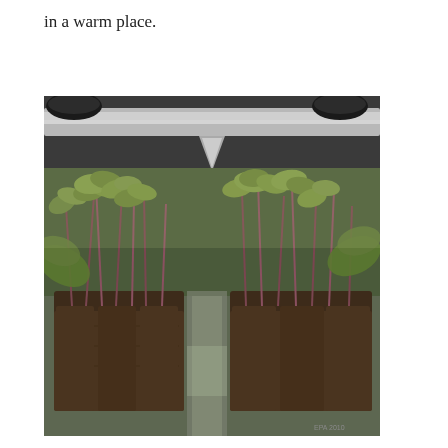in a warm place.
[Figure (photo): Seedlings growing in soil plugs under artificial grow lights on a reflective tray. The young plants have thin purple-red stems and small green leaves. Two grow light tubes are visible at the top of the image.]